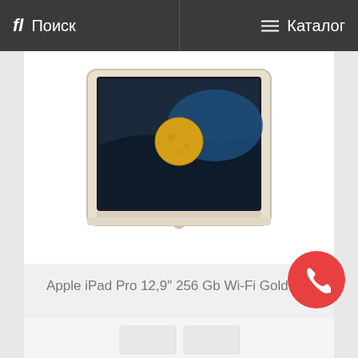fl Поиск | Каталог
[Figure (photo): Apple iPad Pro showing a moon illustration on screen, viewed at an angle, in gold/silver color]
Apple iPad Pro 12,9″ 256 Gb Wi-Fi Gold
73,990 ₽